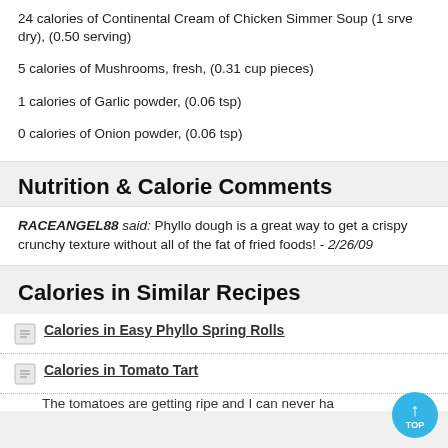24 calories of Continental Cream of Chicken Simmer Soup (1 srve dry), (0.50 serving)
5 calories of Mushrooms, fresh, (0.31 cup pieces)
1 calories of Garlic powder, (0.06 tsp)
0 calories of Onion powder, (0.06 tsp)
Nutrition & Calorie Comments
RACEANGEL88 said: Phyllo dough is a great way to get a crispy crunchy texture without all of the fat of fried foods! -2/26/09
Calories in Similar Recipes
Calories in Easy Phyllo Spring Rolls
Calories in Tomato Tart
The tomatoes are getting ripe and I can never ha...